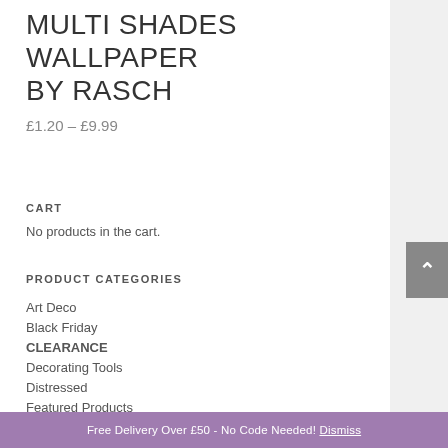MULTI SHADES WALLPAPER BY RASCH
£1.20 – £9.99
CART
No products in the cart.
PRODUCT CATEGORIES
Art Deco
Black Friday
CLEARANCE
Decorating Tools
Distressed
Featured Products
Industrial GB
Shop By Brand
Accessorize
Arthouse
Free Delivery Over £50 - No Code Needed! Dismiss